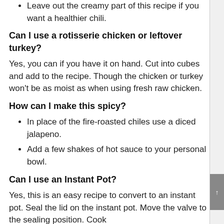Leave out the creamy part of this recipe if you want a healthier chili.
Can I use a rotisserie chicken or leftover turkey?
Yes, you can if you have it on hand. Cut into cubes and add to the recipe. Though the chicken or turkey won't be as moist as when using fresh raw chicken.
How can I make this spicy?
In place of the fire-roasted chiles use a diced jalapeno.
Add a few shakes of hot sauce to your personal bowl.
Can I use an Instant Pot?
Yes, this is an easy recipe to convert to an instant pot. Seal the lid on the instant pot. Move the valve to the sealing position. Cook